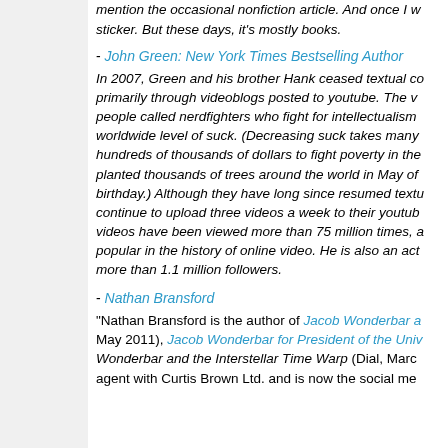mention the occasional nonfiction article. And once I was on a sticker. But these days, it's mostly books.
- John Green: New York Times Bestselling Author
In 2007, Green and his brother Hank ceased textual communication, primarily through videoblogs posted to youtube. The v... people called nerdfighters who fight for intellectualism... worldwide level of suck. (Decreasing suck takes many... hundreds of thousands of dollars to fight poverty in the... planted thousands of trees around the world in May of... birthday.) Although they have long since resumed textu... continue to upload three videos a week to their youtub... videos have been viewed more than 75 million times, a... popular in the history of online video. He is also an act... more than 1.1 million followers.
- Nathan Bransford
"Nathan Bransford is the author of Jacob Wonderbar a... May 2011), Jacob Wonderbar for President of the Univ... Wonderbar and the Interstellar Time Warp (Dial, Marc... agent with Curtis Brown Ltd. and is now the social me...